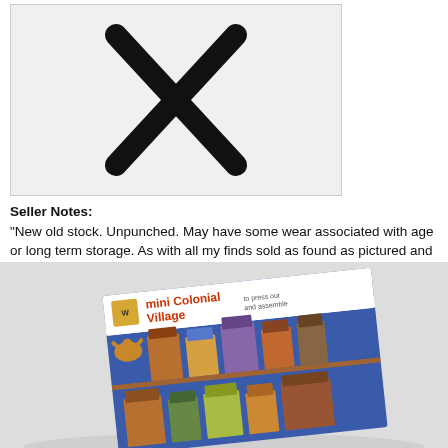[Figure (photo): Placeholder image with a large X mark on a light gray background, indicating no image available]
Seller Notes:
"New old stock. Unpunched. May have some wear associated with age or long term storage. As with all my finds sold as found as pictured and as is."
Brand:
Whitman
UPC:
Does not apply
[Figure (photo): Photo of a Whitman mini Colonial Village press-out and assemble toy set on a white background. The product card shows illustrated colonial-style buildings in two rows on a blue background with an eagle logo.]